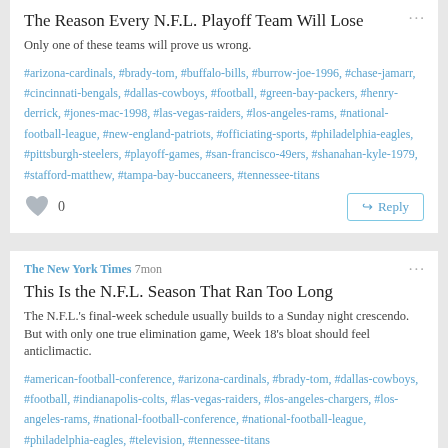The Reason Every N.F.L. Playoff Team Will Lose
Only one of these teams will prove us wrong.
#arizona-cardinals, #brady-tom, #buffalo-bills, #burrow-joe-1996, #chase-jamarr, #cincinnati-bengals, #dallas-cowboys, #football, #green-bay-packers, #henry-derrick, #jones-mac-1998, #las-vegas-raiders, #los-angeles-rams, #national-football-league, #new-england-patriots, #officiating-sports, #philadelphia-eagles, #pittsburgh-steelers, #playoff-games, #san-francisco-49ers, #shanahan-kyle-1979, #stafford-matthew, #tampa-bay-buccaneers, #tennessee-titans
0
Reply
The New York Times 7mon
This Is the N.F.L. Season That Ran Too Long
The N.F.L.'s final-week schedule usually builds to a Sunday night crescendo. But with only one true elimination game, Week 18's bloat should feel anticlimactic.
#american-football-conference, #arizona-cardinals, #brady-tom, #dallas-cowboys, #football, #indianapolis-colts, #las-vegas-raiders, #los-angeles-chargers, #los-angeles-rams, #national-football-conference, #national-football-league, #philadelphia-eagles, #television, #tennessee-titans
0
Reply